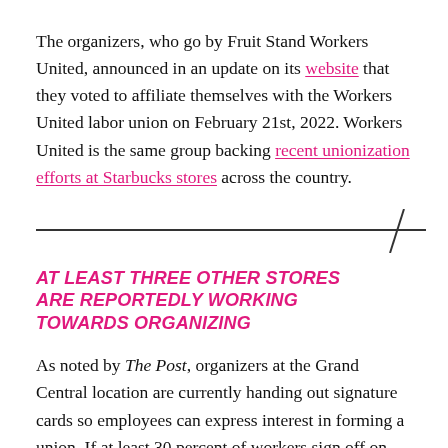The organizers, who go by Fruit Stand Workers United, announced in an update on its website that they voted to affiliate themselves with the Workers United labor union on February 21st, 2022. Workers United is the same group backing recent unionization efforts at Starbucks stores across the country.
AT LEAST THREE OTHER STORES ARE REPORTEDLY WORKING TOWARDS ORGANIZING
As noted by The Post, organizers at the Grand Central location are currently handing out signature cards so employees can express interest in forming a union. If at least 30 percent of workers sign off on